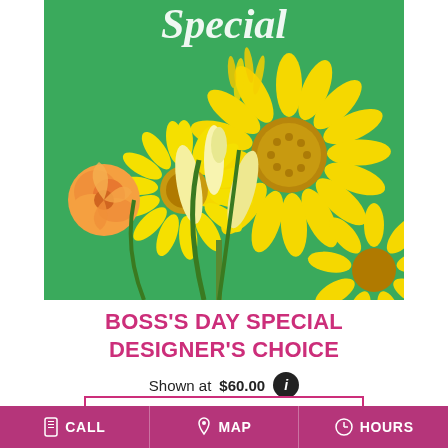[Figure (photo): Close-up photo of yellow sunflowers, gerbera daisies, orange roses, and yellow lilies arranged in a bouquet against a green background with cursive 'Special' text overlay at top]
BOSS'S DAY SPECIAL DESIGNER'S CHOICE
Shown at $60.00
BUY NOW
CALL  MAP  HOURS